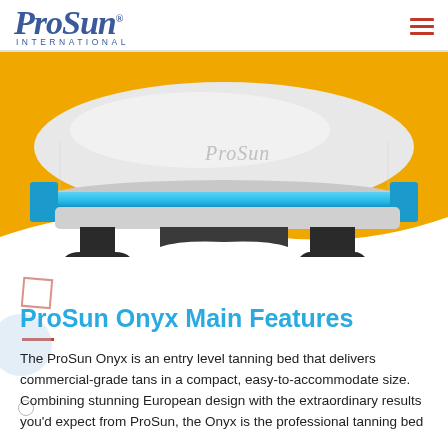ProSun International
[Figure (photo): ProSun tanning bed (Onyx model) shown from the side on an orange/yellow background with a white wave at the bottom. The tanning bed is silver/white with blue UV lights visible in the middle section and black support feet.]
ProSun Onyx Main Features
The ProSun Onyx is an entry level tanning bed that delivers commercial-grade tans in a compact, easy-to-accommodate size. Combining stunning European design with the extraordinary results you'd expect from ProSun, the Onyx is the professional tanning bed